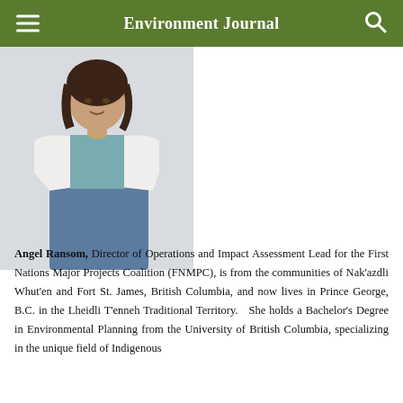Environment Journal
[Figure (photo): Portrait photo of Angel Ransom, a woman with dark curly hair wearing a white blazer over a teal top and blue jeans, standing against a light background.]
Angel Ransom, Director of Operations and Impact Assessment Lead for the First Nations Major Projects Coalition (FNMPC), is from the communities of Nak'azdli Whut'en and Fort St. James, British Columbia, and now lives in Prince George, B.C. in the Lheidli T'enneh Traditional Territory.   She holds a Bachelor's Degree in Environmental Planning from the University of British Columbia, specializing in the unique field of Indigenous